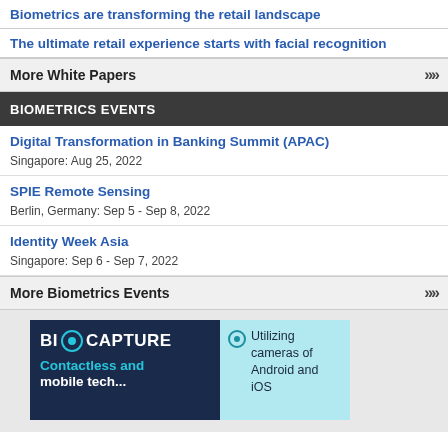Biometrics are transforming the retail landscape
The ultimate retail experience starts with facial recognition
More White Papers
BIOMETRICS EVENTS
Digital Transformation in Banking Summit (APAC)
Singapore: Aug 25, 2022
SPIE Remote Sensing
Berlin, Germany: Sep 5 - Sep 8, 2022
Identity Week Asia
Singapore: Sep 6 - Sep 7, 2022
More Biometrics Events
[Figure (photo): BioCAPTURE advertisement showing contactless and mobile technology with text 'Utilizing cameras of Android and iOS']